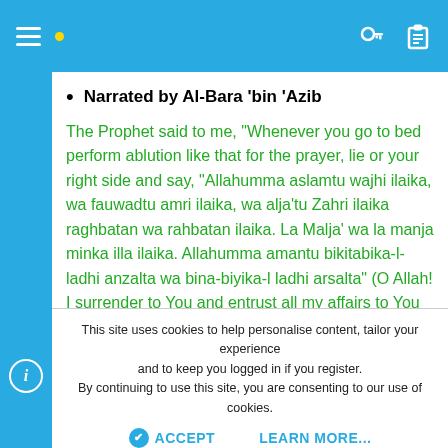App navigation bar with hamburger menu, dot icon, key icon, and clipboard icon
Narrated by Al-Bara 'bin 'Azib
The Prophet said to me, "Whenever you go to bed perform ablution like that for the prayer, lie or your right side and say, "Allahumma aslamtu wajhi ilaika, wa fauwadtu amri ilaika, wa alja'tu Zahri ilaika raghbatan wa rahbatan ilaika. La Malja' wa la manja minka illa ilaika. Allahumma amantu bikitabika-l-ladhi anzalta wa bina-biyika-l ladhi arsalta" (O Allah! I surrender to You and entrust all my affairs to You and depend upon You for Your Blessings both with hope and fear of You. There is no fleeing from You, and there is no place of protection and safety except with You O Allah! I believe in Your Book (the Qur'an) which You have revealed and in Your
This site uses cookies to help personalise content, tailor your experience and to keep you logged in if you register.
By continuing to use this site, you are consenting to our use of cookies.
ACCEPT   LEARN MORE...